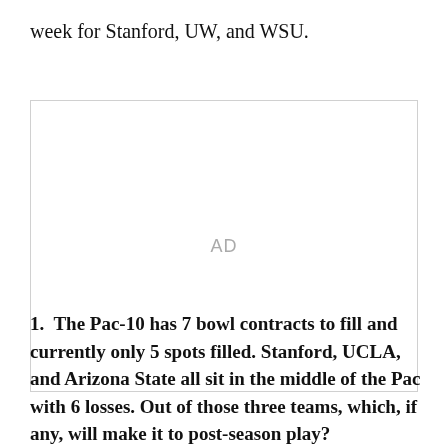week for Stanford, UW, and WSU.
[Figure (other): Advertisement placeholder box with 'AD' label in center]
1.  The Pac-10 has 7 bowl contracts to fill and currently only 5 spots filled. Stanford, UCLA, and Arizona State all sit in the middle of the Pac with 6 losses. Out of those three teams, which, if any, will make it to post-season play?